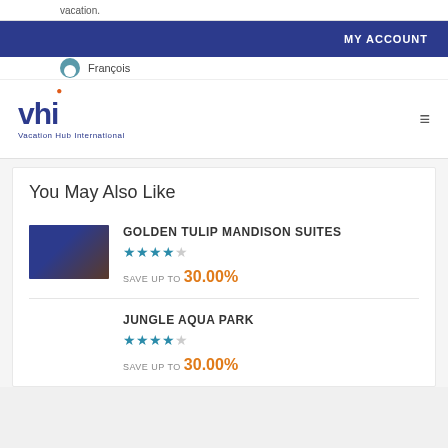vacation.
MY ACCOUNT
[Figure (logo): VHI - Vacation Hub International logo with blue text and orange dot]
You May Also Like
GOLDEN TULIP MANDISON SUITES
★★★★☆
SAVE UP TO 30.00%
JUNGLE AQUA PARK
★★★★☆
SAVE UP TO 30.00%